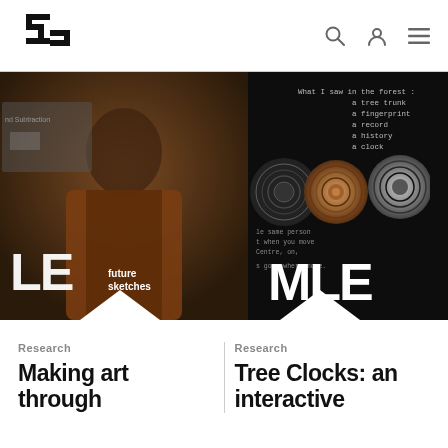ZHdK logo navigation with search, user, and menu icons
[Figure (screenshot): Hero banner with two images side by side: left shows a woman in a brown leather jacket smiling with 'future sketches' logo overlay; right shows a dark background with tree cross-sections, fingerprint imagery, and text about what was seen in the forest, overlaid with geometric logo]
Research
Making art through
Research
Tree Clocks: an interactive